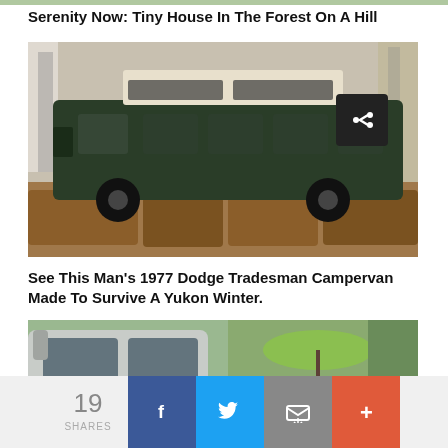[Figure (photo): Top strip image remnant - partial green/nature photo]
Serenity Now: Tiny House In The Forest On A Hill
[Figure (photo): Dark green Dodge van camper parked in woods with white pop-top roof, surrounded by hay bales, winter forest background. Share button overlay top-right.]
See This Man’s 1977 Dodge Tradesman Campervan Made To Survive A Yukon Winter.
[Figure (photo): Front view of a vintage van/campervan with green umbrella visible in background. Share button overlay top-right.]
19 SHARES